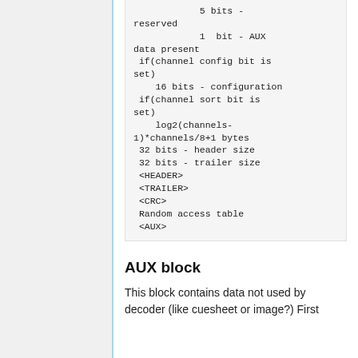5 bits - reserved
            1  bit - AUX data present
 if(channel config bit is set)
    16 bits - configuration
 if(channel sort bit is set)
    log2(channels-1)*channels/8+1 bytes
 32 bits - header size
 32 bits - trailer size
 <HEADER>
 <TRAILER>
 <CRC>
 Random access table
 <AUX>
AUX block
This block contains data not used by decoder (like cuesheet or image?) First